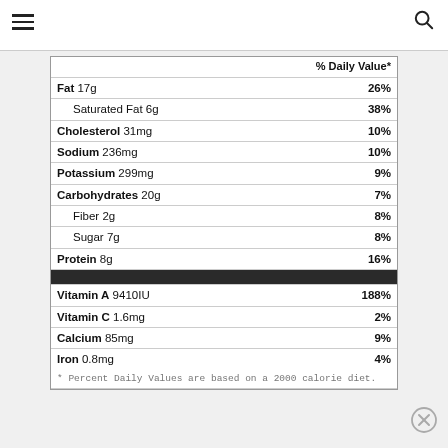[Figure (infographic): Hamburger menu icon (three horizontal lines) in top left corner]
[Figure (infographic): Search (magnifying glass) icon in top right corner]
| Nutrient | % Daily Value* |
| --- | --- |
| Fat 17g | 26% |
| Saturated Fat 6g | 38% |
| Cholesterol 31mg | 10% |
| Sodium 236mg | 10% |
| Potassium 299mg | 9% |
| Carbohydrates 20g | 7% |
| Fiber 2g | 8% |
| Sugar 7g | 8% |
| Protein 8g | 16% |
| Vitamin A 9410IU | 188% |
| Vitamin C 1.6mg | 2% |
| Calcium 85mg | 9% |
| Iron 0.8mg | 4% |
* Percent Daily Values are based on a 2000 calorie diet.